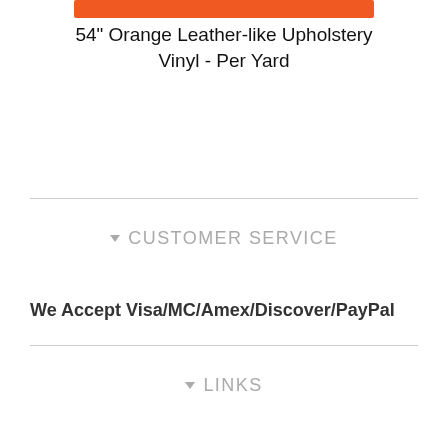[Figure (other): Orange rectangular color swatch/banner at top of page]
54" Orange Leather-like Upholstery Vinyl - Per Yard
CUSTOMER SERVICE
We Accept Visa/MC/Amex/Discover/PayPal
LINKS